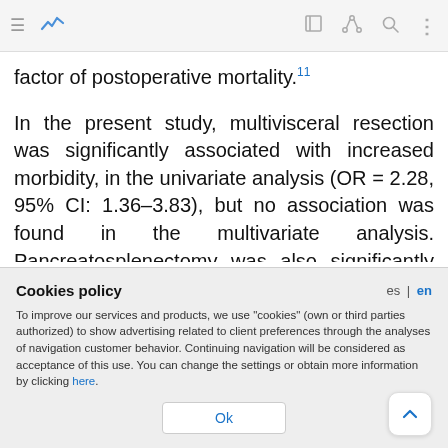factor of postoperative mortality.11
In the present study, multivisceral resection was significantly associated with increased morbidity, in the univariate analysis (OR = 2.28, 95% CI: 1.36–3.83), but no association was found in the multivariate analysis. Pancreatosplenectomy was also significantly associated with increased morbidity, f...
Cookies policy
To improve our services and products, we use "cookies" (own or third parties authorized) to show advertising related to client preferences through the analyses of navigation customer behavior. Continuing navigation will be considered as acceptance of this use. You can change the settings or obtain more information by clicking here.